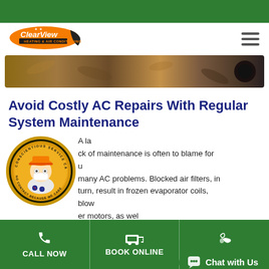[Figure (logo): ClearView logo with orange oval shape and dark swoosh]
[Figure (photo): Outdoor brown leaves/debris hero image banner]
Avoid Costly AC Repairs With Regular System Maintenance
A lack of maintenance is often to blame for many AC problems. Blocked air filters, in turn, result in frozen evaporator coils, blower motors, as well as... the air filter becomes clogged and dirt can enter the air handling unit and
[Figure (illustration): ClearView mascot circular badge - technician in white uniform with orange hat, text reads CONSCIENTIOUS SERVICE CALLS and NO CONTACT BECAUSE WE CARE]
[Figure (other): Green Chat with Us button with speech bubble icon]